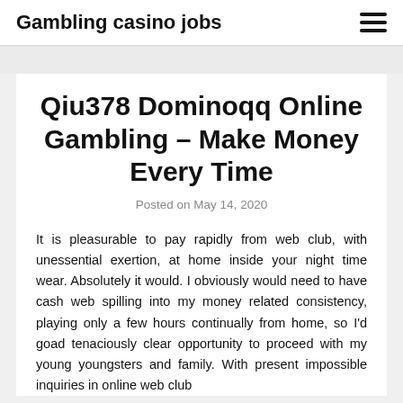Gambling casino jobs
Qiu378 Dominoqq Online Gambling – Make Money Every Time
Posted on May 14, 2020
It is pleasurable to pay rapidly from web club, with unessential exertion, at home inside your night time wear. Absolutely it would. I obviously would need to have cash web spilling into my money related consistency, playing only a few hours continually from home, so I'd goad tenaciously clear opportunity to proceed with my young youngsters and family. With present impossible inquiries in online web club